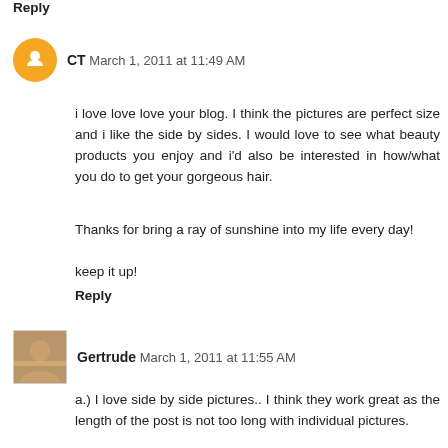Reply
CT March 1, 2011 at 11:49 AM
i love love love your blog. I think the pictures are perfect size and i like the side by sides. I would love to see what beauty products you enjoy and i'd also be interested in how/what you do to get your gorgeous hair.

Thanks for bring a ray of sunshine into my life every day!

keep it up!
Reply
Gertrude March 1, 2011 at 11:55 AM
a.) I love side by side pictures.. I think they work great as the length of the post is not too long with individual pictures.

b.) This totally depends on how much you are willing to share I think, but adding two more would be lovely as well!